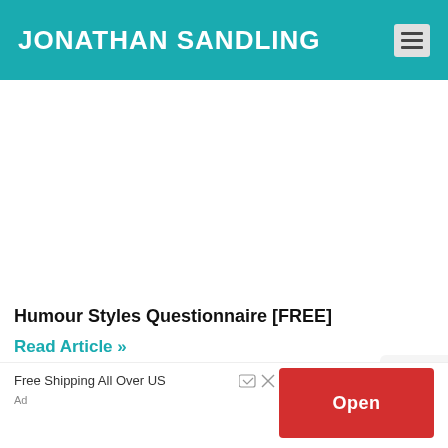JONATHAN SANDLING
Humour Styles Questionnaire [FREE]
Read Article »
Free Shipping All Over US
Ad